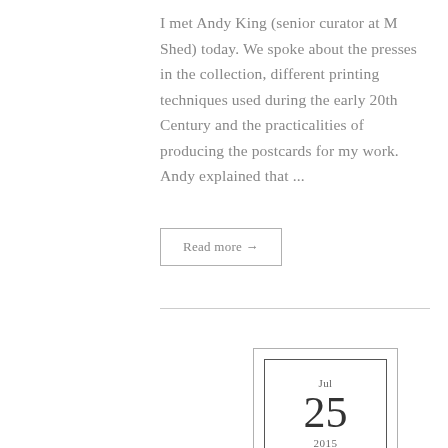I met Andy King (senior curator at M Shed) today. We spoke about the presses in the collection, different printing techniques used during the early 20th Century and the practicalities of producing the postcards for my work. Andy explained that ...
Read more →
[Figure (other): Date display card showing Jul 25, 2015 — an outer rectangle border with an inner rectangle, month 'Jul' at top, large day '25' in center, year '2015' at bottom]